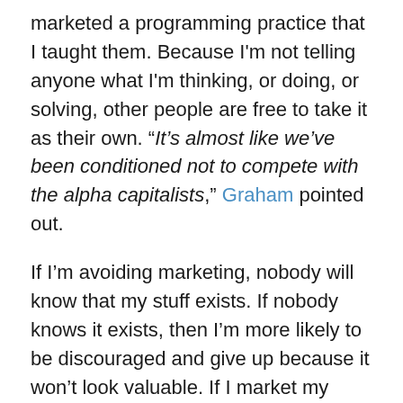marketed a programming practice that I taught them. Because I'm not telling anyone what I'm thinking, or doing, or solving, other people are free to take it as their own. “It’s almost like we’ve been conditioned not to compete with the alpha capitalists,” Graham pointed out.
If I’m avoiding marketing, nobody will know that my stuff exists. If nobody knows it exists, then I’m more likely to be discouraged and give up because it won’t look valuable. If I market my things myself, at least I know that I’m being honest about what I can provide. Perhaps it’s time for nerds like me to learn how to do a bit of marketing. Maybe, to paraphrase a former boss of mine, “Marketing is too important a job to be left to marketing professionals.”